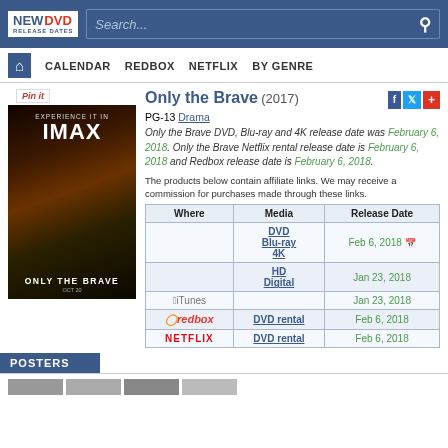NEW DVD RELEASE DATES — Search bar with navigation: CALENDAR, REDBOX, NETFLIX, BY GENRE
[Figure (photo): Movie poster for Only the Brave (2017) showing soldiers silhouetted against fire with IMAX branding]
Only the Brave (2017)
PG-13 Drama
Only the Brave DVD, Blu-ray and 4K release date was February 6, 2018. Only the Brave Netflix rental release date is February 6, 2018 and Redbox release date is February 6, 2018.
The products below contain affiliate links. We may receive a commission for purchases made through these links.
| Where | Media | Release Date |
| --- | --- | --- |
|  | DVD Blu-ray 4K | Feb 6, 2018 |
|  | HD Digital | Jan 23, 2018 |
| iTunes |  | Jan 23, 2018 |
| redbox | DVD rental | Feb 6, 2018 |
| NETFLIX | DVD rental | Feb 6, 2018 |
POSTERS